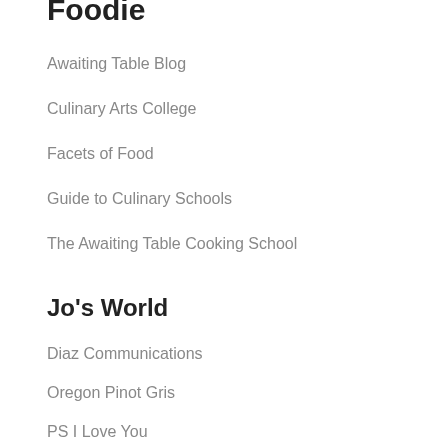Foodie
Awaiting Table Blog
Culinary Arts College
Facets of Food
Guide to Culinary Schools
The Awaiting Table Cooking School
Jo's World
Diaz Communications
Oregon Pinot Gris
PS I Love You
The Wine Century Club
Winery Cats
Photographers